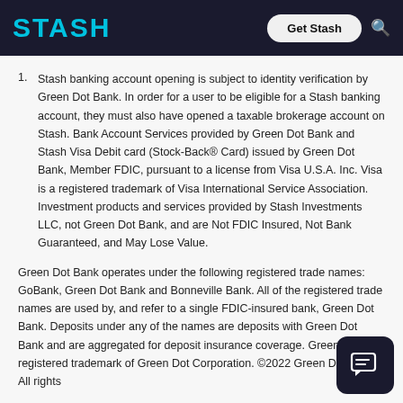STASH | Get Stash
Stash banking account opening is subject to identity verification by Green Dot Bank. In order for a user to be eligible for a Stash banking account, they must also have opened a taxable brokerage account on Stash. Bank Account Services provided by Green Dot Bank and Stash Visa Debit card (Stock-Back® Card) issued by Green Dot Bank, Member FDIC, pursuant to a license from Visa U.S.A. Inc. Visa is a registered trademark of Visa International Service Association. Investment products and services provided by Stash Investments LLC, not Green Dot Bank, and are Not FDIC Insured, Not Bank Guaranteed, and May Lose Value.
Green Dot Bank operates under the following registered trade names: GoBank, Green Dot Bank and Bonneville Bank. All of the registered trade names are used by, and refer to a single FDIC-insured bank, Green Dot Bank. Deposits under any of the names are deposits with Green Dot Bank and are aggregated for deposit insurance coverage. Green Dot is a registered trademark of Green Dot Corporation. ©2022 Green Dot Bank. All rights